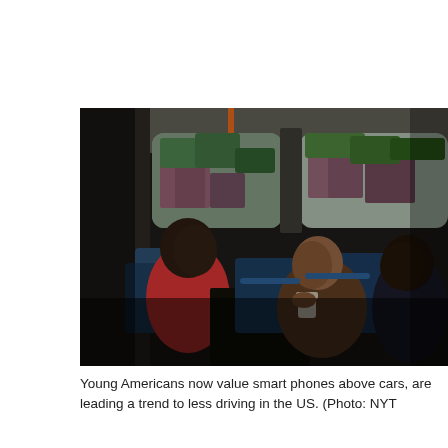[Figure (photo): Interior of a public bus with three passengers seated. On the left, a person in a red shirt facing slightly toward the camera. In the center, a person in a brown jacket holding a coffee cup, possibly using a phone. On the right, a person in dark clothing. Large windows show a residential neighborhood with trees and houses outside. Blue bus seats are visible.]
Young Americans now value smart phones above cars, are leading a trend to less driving in the US. (Photo: NYT